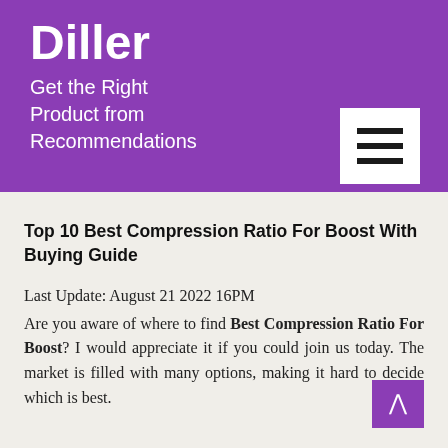Diller
Get the Right Product from Recommendations
Top 10 Best Compression Ratio For Boost With Buying Guide
Last Update: August 21 2022 16PM
Are you aware of where to find Best Compression Ratio For Boost? I would appreciate it if you could join us today. The market is filled with many options, making it hard to decide which is best.